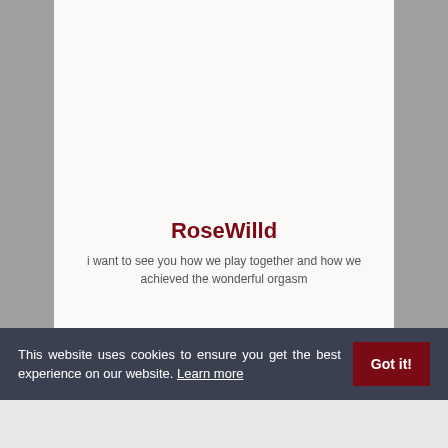RoseWilld
i want to see you how we play together and how we achieved the wonderful orgasm
This website uses cookies to ensure you get the best experience on our website. Learn more